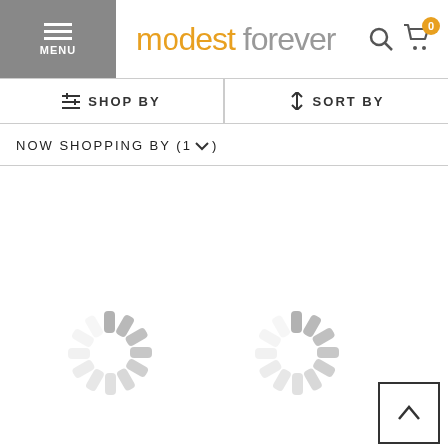MENU | modest forever | search | cart 0
≡ SHOP BY | ↕ SORT BY
NOW SHOPPING BY (1)
[Figure (screenshot): Two loading spinner icons (rotating circle of gray dashes) indicating page content is loading, positioned side by side in the lower portion of the page. A back-to-top button (box with upward chevron) is in the bottom-right corner.]